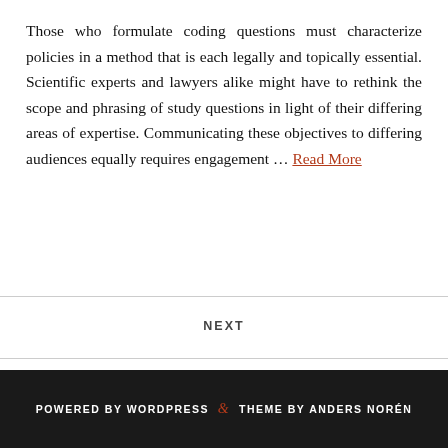Those who formulate coding questions must characterize policies in a method that is each legally and topically essential. Scientific experts and lawyers alike might have to rethink the scope and phrasing of study questions in light of their differing areas of expertise. Communicating these objectives to differing audiences equally requires engagement … Read More
NEXT
POWERED BY WORDPRESS & THEME BY ANDERS NORÉN